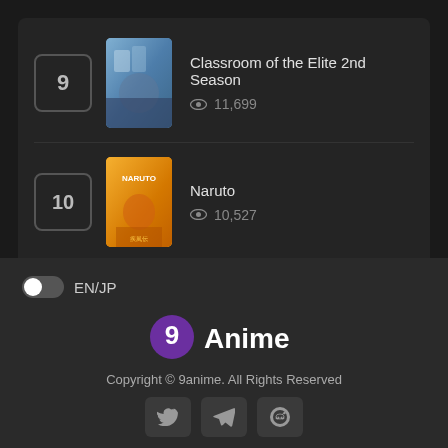9 - Classroom of the Elite 2nd Season - 11,699 views
10 - Naruto - 10,527 views
EN/JP
[Figure (logo): 9Anime logo with purple circle containing white 9 and white text Anime]
Copyright © 9anime. All Rights Reserved
[Figure (infographic): Social media icons: Twitter, Telegram, Reddit]
Disclaimer: This site does not store any files on its server.All contents are